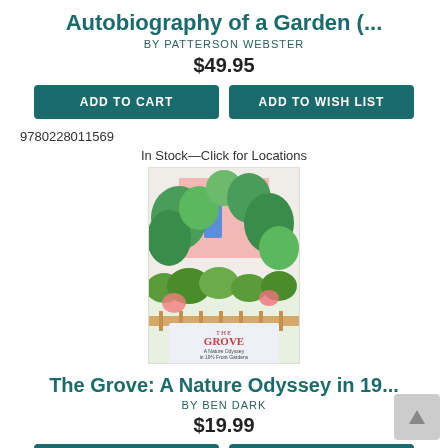Autobiography of a Garden (...
BY PATTERSON WEBSTER
$49.95
ADD TO CART   ADD TO WISH LIST
9780228011569
In Stock—Click for Locations
[Figure (photo): Book cover of 'The Grove: A Nature Odyssey in 19½ Front Gardens' by Ben Dark, showing illustrated garden with green plants and a blue door]
The Grove: A Nature Odyssey in 19...
BY BEN DARK
$19.99
ADD TO CART   ADD TO WISH LIST